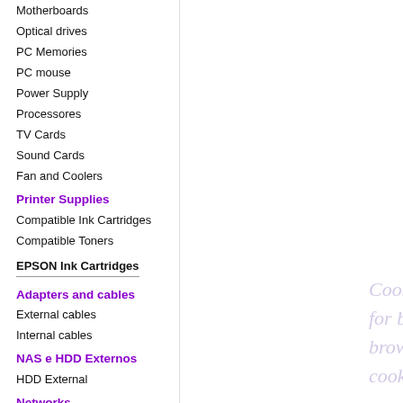Motherboards
Optical drives
PC Memories
PC mouse
Power Supply
Processores
TV Cards
Sound Cards
Fan and Coolers
Printer Supplies
Compatible Ink Cartridges
Compatible Toners
EPSON Ink Cartridges
Adapters and cables
External cables
Internal cables
NAS e HDD Externos
HDD External
Networks
Network Cards
Power Line